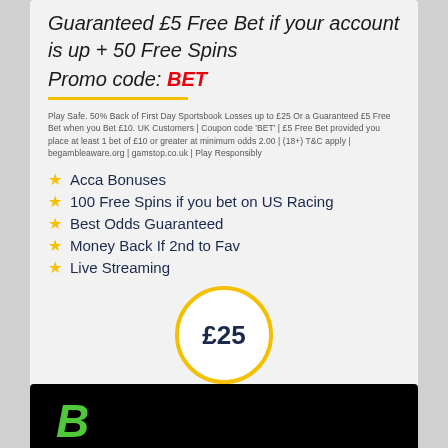Guaranteed £5 Free Bet if your account is up + 50 Free Spins
Promo code: BET
Play Safe. 50% Back of First Day Sportsbook Losses up to £25 Or a Guaranteed £5 Free Bet when you Bet £10. UK Customers | Coupon code 'BET' | £5 Free Bet provided you place at least 1 bet of £10 or greater at minimum odds 2.00 | (18+) T&C apply | begambleaware.org | gamstop.co.uk | Play Responsibly
Acca Bonuses
100 Free Spins if you bet on US Racing
Best Odds Guaranteed
Money Back If 2nd to Fav
Live Streaming
£25
Claim
[Figure (logo): Green letter B logo on black background]